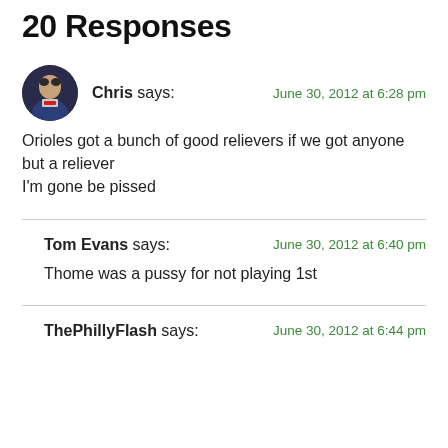20 Responses
Chris says:
Orioles got a bunch of good relievers if we got anyone but a reliever I'm gone be pissed
June 30, 2012 at 6:28 pm
Tom Evans says:
Thome was a pussy for not playing 1st
June 30, 2012 at 6:40 pm
ThePhillyFlash says:
June 30, 2012 at 6:44 pm